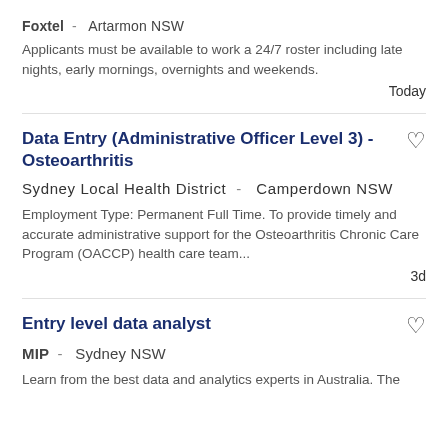Foxtel - Artarmon NSW
Applicants must be available to work a 24/7 roster including late nights, early mornings, overnights and weekends.
Today
Data Entry (Administrative Officer Level 3) - Osteoarthritis
Sydney Local Health District - Camperdown NSW
Employment Type: Permanent Full Time. To provide timely and accurate administrative support for the Osteoarthritis Chronic Care Program (OACCP) health care team...
3d
Entry level data analyst
MIP - Sydney NSW
Learn from the best data and analytics experts in Australia. The